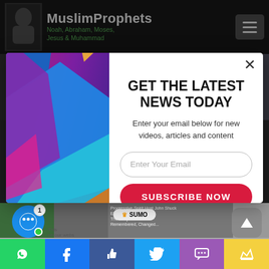[Figure (screenshot): MuslimProphets website screenshot with dark navigation bar showing logo, site name, and hamburger menu]
[Figure (screenshot): Email newsletter subscription popup modal with colorful geometric shapes on left side and subscription form on right side]
GET THE LATEST NEWS TODAY
Enter your email below for new videos, articles and content
Enter Your Email
SUBSCRIBE NOW
No Thanks
[Figure (screenshot): Bottom of website with social sharing icons including WhatsApp, Facebook, Twitter, and other social media buttons, plus chat widget and Sumo badge]